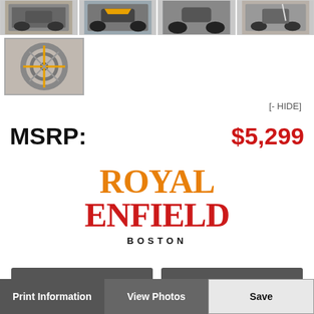[Figure (photo): Row of four motorcycle thumbnail photos across the top of the page]
[Figure (photo): Single motorcycle detail thumbnail photo (brake/wheel close-up) with border, second row left]
[- HIDE]
MSRP: $5,299
[Figure (logo): Royal Enfield Boston dealer logo in orange and red with 'BOSTON' subtitle]
Print Information
View Photos
Save